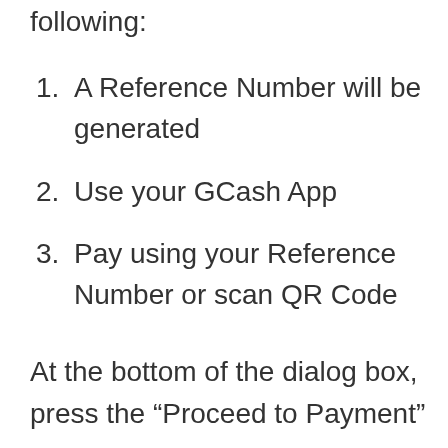following:
A Reference Number will be generated
Use your GCash App
Pay using your Reference Number or scan QR Code
At the bottom of the dialog box, press the “Proceed to Payment”